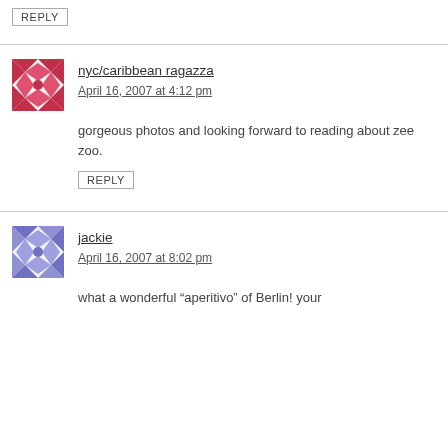REPLY
[Figure (illustration): Red/pink mosaic avatar icon for nyc/caribbean ragazza]
nyc/caribbean ragazza says
April 16, 2007 at 4:12 pm
gorgeous photos and looking forward to reading about zee zoo.
REPLY
[Figure (illustration): Blue/purple mosaic avatar icon for jackie]
jackie says
April 16, 2007 at 8:02 pm
what a wonderful “aperitivo” of Berlin! your